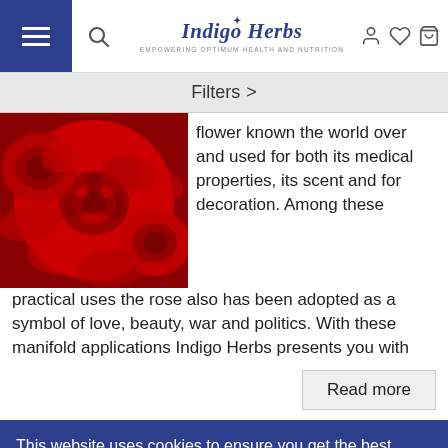Indigo Herbs — EMPOWERING OPTIMUM HEALTH AND NUTRITION
Filters >
[Figure (photo): Close-up photograph of vibrant red roses]
flower known the world over and used for both its medical properties, its scent and for decoration. Among these practical uses the rose also has been adopted as a symbol of love, beauty, war and politics. With these manifold applications Indigo Herbs presents you with
Read more
This website uses cookies to ensure you get the best experience. Learn more
Got it!   No, thanks